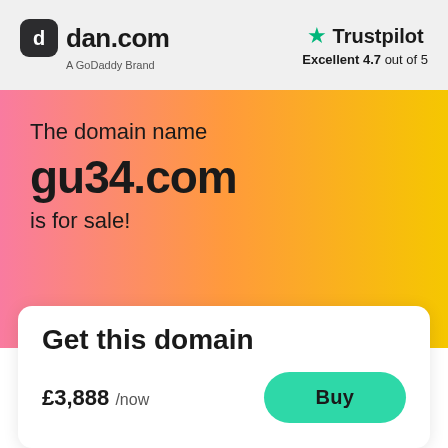[Figure (logo): dan.com logo - rounded square icon with stylized 'd' letter in white on dark background, followed by 'dan.com' text and 'A GoDaddy Brand' subtitle]
[Figure (logo): Trustpilot logo with green star icon and 'Trustpilot' text, rating 'Excellent 4.7 out of 5']
The domain name
gu34.com
is for sale!
Get this domain
£3,888 /now
Buy